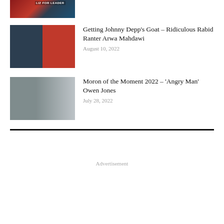[Figure (photo): Top thumbnail image with Liz for Leader branding, partially visible at top of page]
[Figure (photo): Photo of Johnny Depp and Amber Heard side by side]
Getting Johnny Depp’s Goat – Ridiculous Rabid Ranter Arwa Mahdawi
August 10, 2022
[Figure (photo): Photo of Owen Jones looking angry, holding a phone]
Moron of the Moment 2022 – ‘Angry Man’ Owen Jones
July 28, 2022
Advertisement